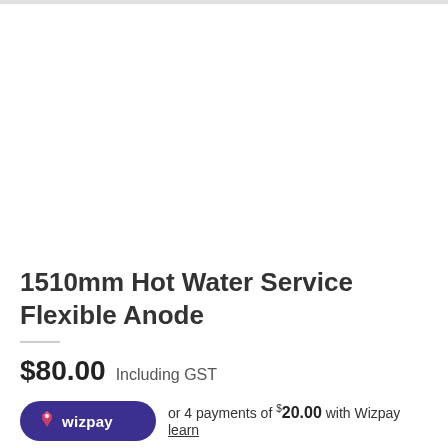[Figure (photo): Product image area (white/blank) for 1510mm Hot Water Service Flexible Anode]
1510mm Hot Water Service Flexible Anode
$80.00 Including GST
or 4 payments of $20.00 with Wizpay learn